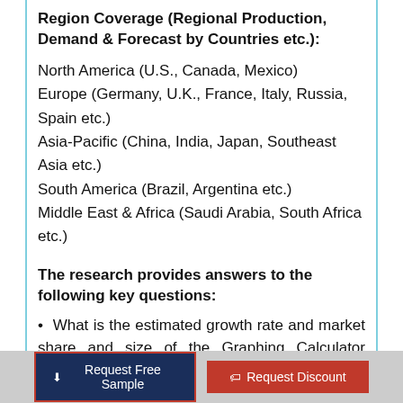Region Coverage (Regional Production, Demand & Forecast by Countries etc.):
North America (U.S., Canada, Mexico)
Europe (Germany, U.K., France, Italy, Russia, Spain etc.)
Asia-Pacific (China, India, Japan, Southeast Asia etc.)
South America (Brazil, Argentina etc.)
Middle East & Africa (Saudi Arabia, South Africa etc.)
The research provides answers to the following key questions:
• What is the estimated growth rate and market share and size of the Graphing Calculator market for the forecast period 2020 - 2028?
• What are the driving forces in the Graphing
Request Free Sample   Request Discount